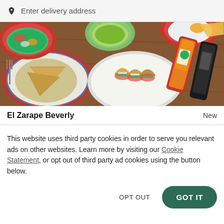Enter delivery address
[Figure (photo): Overhead photo of Mexican food: bowls with tacos, guacamole, quesadillas on plates, and hot sauce bottles on a wooden table]
El Zarape Beverly
New
This website uses third party cookies in order to serve you relevant ads on other websites. Learn more by visiting our Cookie Statement, or opt out of third party ad cookies using the button below.
OPT OUT
GOT IT